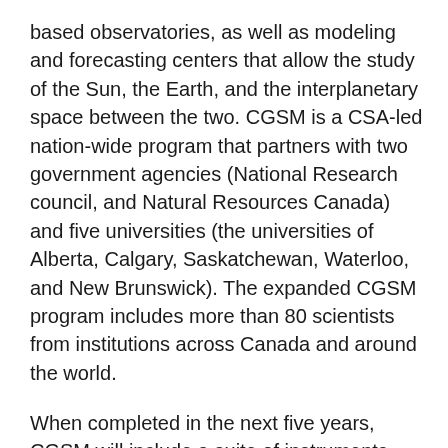based observatories, as well as modeling and forecasting centers that allow the study of the Sun, the Earth, and the interplanetary space between the two. CGSM is a CSA-led nation-wide program that partners with two government agencies (National Research council, and Natural Resources Canada) and five universities (the universities of Alberta, Calgary, Saskatchewan, Waterloo, and New Brunswick). The expanded CGSM program includes more than 80 scientists from institutions across Canada and around the world.
When completed in the next five years, CGSM will include a suite of instruments spread across the country from the west to east coast, including the far north, as well as centres for modelling and space weather forecasting: